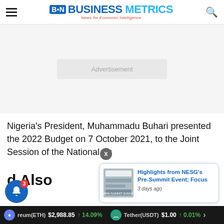Business Metrics — News for Economic Intelligence
[Figure (other): Advertisement banner placeholder, light grey background]
Nigeria's President, Muhammadu Buhari presented the 2022 Budget on 7 October 2021, to the Joint Session of the National Assembly
Read Also
[Figure (screenshot): Popup notification panel showing: 'Highlights from NESG's Pre-Summit Event; Focus' with thumbnail image, 3 days ago]
reum(ETH) $2,988.85 ↑ 14.09% Tether(USDT) $1.00 ↑ 0.01%